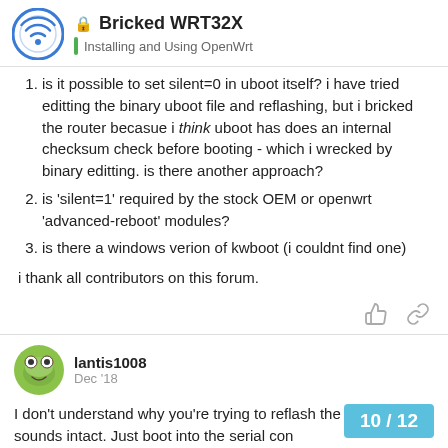Bricked WRT32X — Installing and Using OpenWrt
is it possible to set silent=0 in uboot itself? i have tried editting the binary uboot file and reflashing, but i bricked the router becasue i think uboot has does an internal checksum check before booting - which i wrecked by binary editting. is there another approach?
is 'silent=1' required by the stock OEM or openwrt 'advanced-reboot' modules?
is there a windows verion of kwboot (i couldnt find one)
i thank all contributors on this forum.
lantis1008 — Dec '18
I don't understand why you're trying to reflash the uboot? It sounds intact. Just boot into the serial con